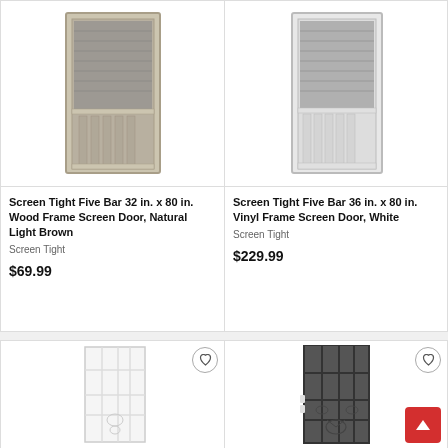[Figure (photo): Screen door with five vertical bars, wood frame, natural light brown color]
Screen Tight Five Bar 32 in. x 80 in. Wood Frame Screen Door, Natural Light Brown
Screen Tight
$69.99
[Figure (photo): Screen door with five vertical bars, vinyl frame, white color]
Screen Tight Five Bar 36 in. x 80 in. Vinyl Frame Screen Door, White
Screen Tight
$229.99
[Figure (photo): White security door with decorative scroll ironwork and bars]
[Figure (photo): Dark/black security door with decorative scroll ironwork and bars]